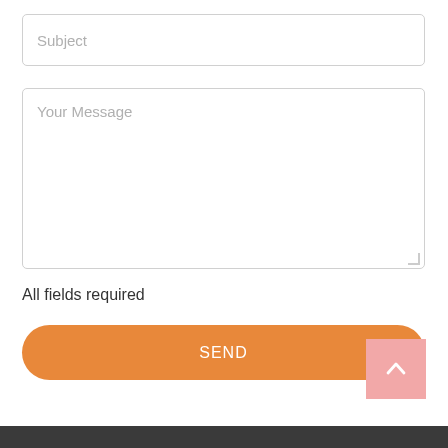Subject
Your Message
All fields required
SEND
[Figure (other): Scroll-to-top button with upward chevron arrow, pink/salmon background square]